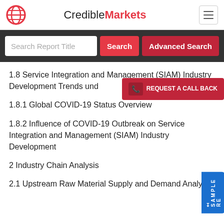CredibleMarkets
Search Report Title
1.8 Service Integration and Management (SIAM) Industry Development Trends under COVID-19 Outbreak
1.8.1 Global COVID-19 Status Overview
1.8.2 Influence of COVID-19 Outbreak on Service Integration and Management (SIAM) Industry Development
2 Industry Chain Analysis
2.1 Upstream Raw Material Supply and Demand Analysis